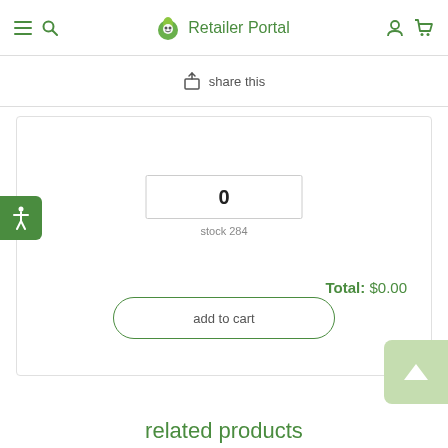Retailer Portal
share this
0
stock 284
Total: $0.00
add to cart
related products